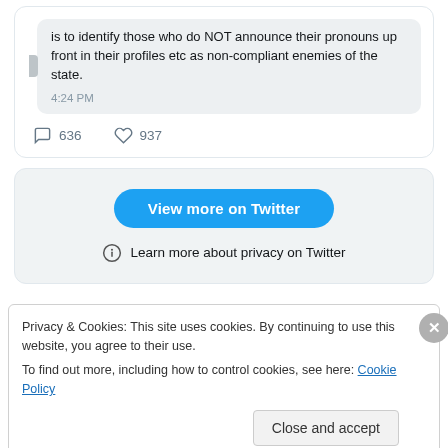is to identify those who do NOT announce their pronouns up front in their profiles etc as non-compliant enemies of the state.
4:24 PM
636   937
[Figure (screenshot): Twitter embedded widget with 'View more on Twitter' blue button and 'Learn more about privacy on Twitter' link]
Privacy & Cookies: This site uses cookies. By continuing to use this website, you agree to their use.
To find out more, including how to control cookies, see here: Cookie Policy